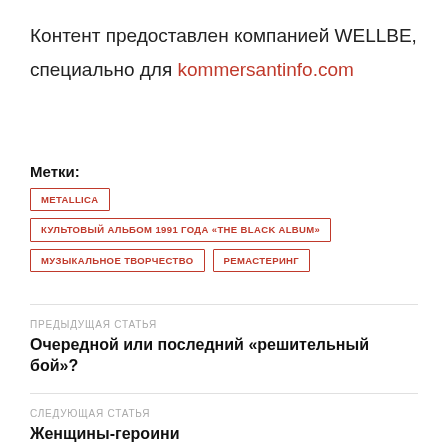Контент предоставлен компанией WELLBE, специально для kommersantinfo.com
Метки:
METALLICA
КУЛЬТОВЫЙ АЛЬБОМ 1991 ГОДА «THE BLACK ALBUM»
МУЗЫКАЛЬНОЕ ТВОРЧЕСТВО
РЕМАСТЕРИНГ
ПРЕДЫДУЩАЯ СТАТЬЯ
Очередной или последний «решительный бой»?
СЛЕДУЮЩАЯ СТАТЬЯ
Женщины-героини